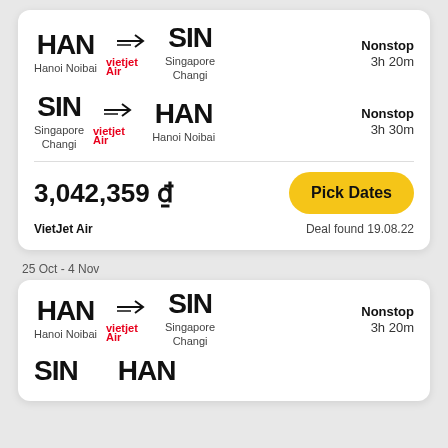[Figure (infographic): Flight card: HAN to SIN (Nonstop, 3h 20m) and SIN to HAN (Nonstop, 3h 30m), VietJet Air, price 3,042,359 ₫, Pick Dates button, Deal found 19.08.22]
25 Oct - 4 Nov
[Figure (infographic): Second flight card: HAN to SIN (Nonstop, 3h 20m), VietJet Air, partially visible SIN to HAN row]